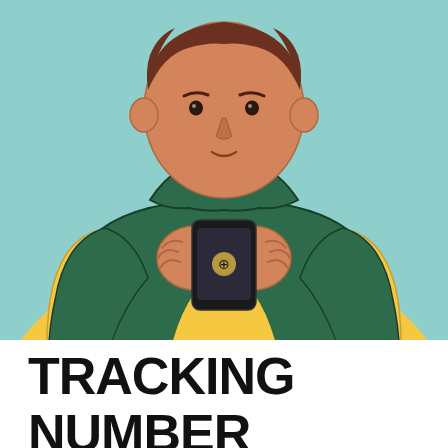[Figure (illustration): Flat style illustration of a young man with brown hair wearing a dark green hoodie over a yellow long-sleeve shirt, holding a smartphone with both hands and looking at it. The background is a light teal/mint color.]
TRACKING NUMBER BENEFITS